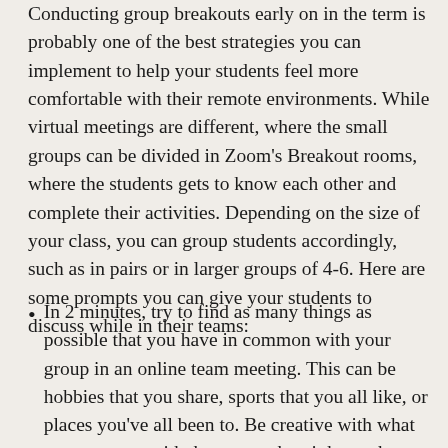Conducting group breakouts early on in the term is probably one of the best strategies you can implement to help your students feel more comfortable with their remote environments. While virtual meetings are different, where the small groups can be divided in Zoom's Breakout rooms, where the students gets to know each other and complete their activities. Depending on the size of your class, you can group students accordingly, such as in pairs or in larger groups of 4-6. Here are some prompts you can give your students to discuss while in their teams:
In 2 minutes, try to find as many things as possible that you have in common with your group in an online team meeting. This can be hobbies that you share, sports that you all like, or places you've all been to. Be creative with what you come up with, but remember, it has to be something everyone